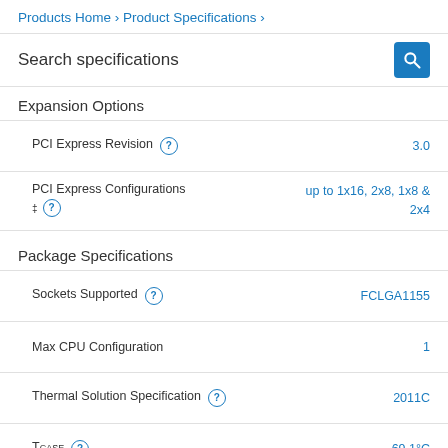Products Home › Product Specifications ›
Search specifications
Expansion Options
| Specification | Value |
| --- | --- |
| PCI Express Revision | 3.0 |
| PCI Express Configurations ‡ | up to 1x16, 2x8, 1x8 & 2x4 |
Package Specifications
| Specification | Value |
| --- | --- |
| Sockets Supported | FCLGA1155 |
| Max CPU Configuration | 1 |
| Thermal Solution Specification | 2011C |
| TCASE | 69.1°C |
| Package Size | 37.5mm x 37.5mm |